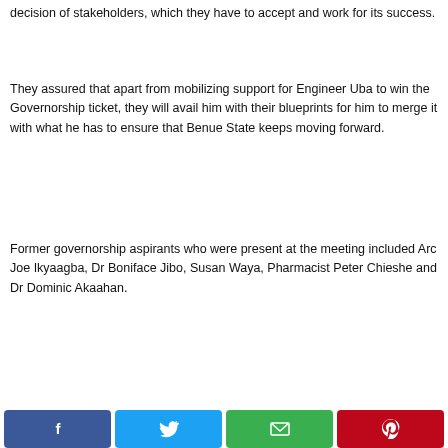decision of stakeholders, which they have to accept and work for its success.
They assured that apart from mobilizing support for Engineer Uba to win the Governorship ticket, they will avail him with their blueprints for him to merge it with what he has to ensure that Benue State keeps moving forward.
Former governorship aspirants who were present at the meeting included Arc Joe Ikyaagba, Dr Boniface Jibo, Susan Waya, Pharmacist Peter Chieshe and Dr Dominic Akaahan.
[Figure (infographic): Social share buttons: Facebook (blue), Twitter (light blue), Email (green), Pinterest (red)]